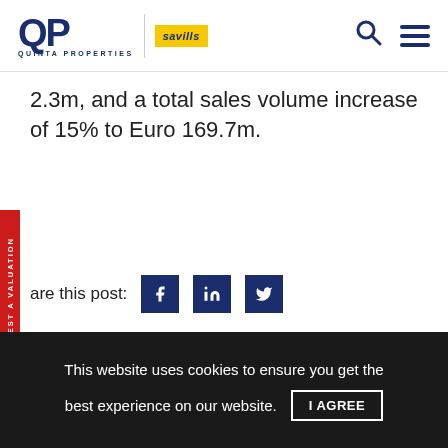QP QUINTA PROPERTIES | savills
2.3m, and a total sales volume increase of 15% to Euro 169.7m.
Share this post:
Related posts:
[Figure (photo): Aerial view of a coastal city with a historic fortress on a hill, green trees, blue sky with clouds]
This website uses cookies to ensure you get the best experience on our website.
I AGREE